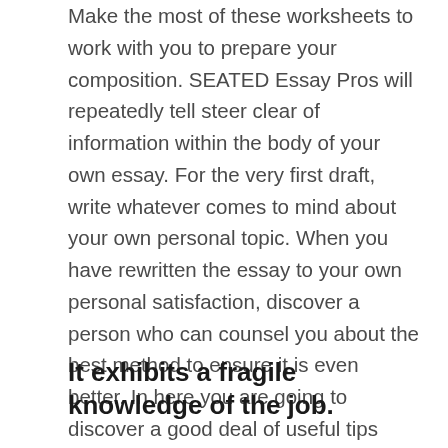Make the most of these worksheets to work with you to prepare your composition. SEATED Essay Pros will repeatedly tell steer clear of information within the body of your own essay. For the very first draft, write whatever comes to mind about your own personal topic. When you have rewritten the essay to your own personal satisfaction, discover a person who can counsel you about the best method to ensure it is even better. In here you are going to discover a good deal of useful tips about article composing procedure.
It exhibits a fragile knowledge of the job.